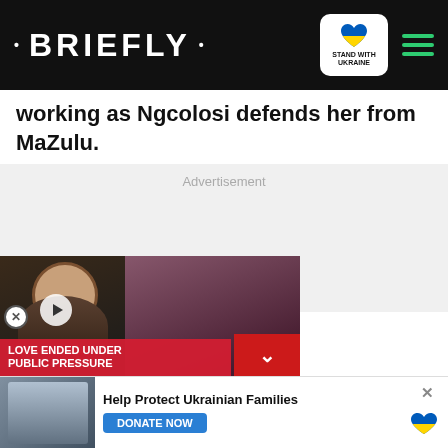• BRIEFLY •
working as Ngcolosi defends her from MaZulu.
Advertisement
[Figure (screenshot): Video thumbnail overlay showing a celebrity with text 'LOVE ENDED UNDER PUBLIC PRESSURE' in red banner, with a play button and couple in background]
[Figure (photo): Ukrainian families aid banner image showing people in winter clothing]
Help Protect Ukrainian Families
DONATE NOW